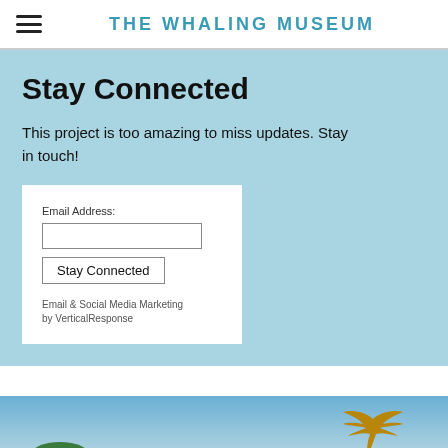THE WHALING MUSEUM
Stay Connected
This project is too amazing to miss updates. Stay in touch!
Email Address:
[input field]
[Stay Connected button]
Email & Social Media Marketing by VerticalResponse
[Figure (photo): Blue sky with clouds, tree silhouette at bottom left, bird silhouette at top right]